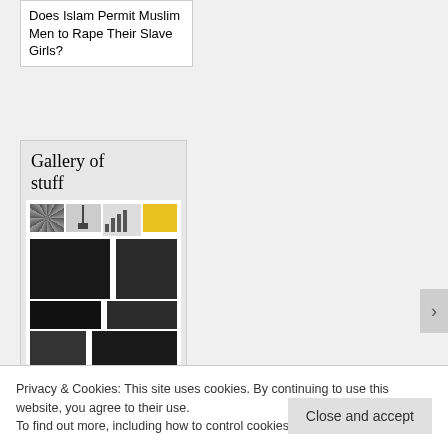Does Islam Permit Muslim Men to Rape Their Slave Girls?
Gallery of stuff
[Figure (photo): Gallery collage of various images including icons, documentary-style photos, and thumbnails in a grid layout]
Privacy & Cookies: This site uses cookies. By continuing to use this website, you agree to their use.
To find out more, including how to control cookies, see here: Cookie Policy
Close and accept